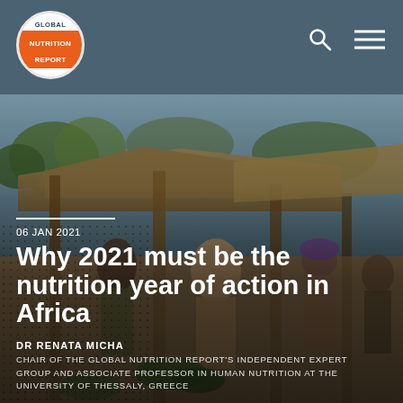Global Nutrition Report
[Figure (photo): Outdoor African market scene with women vendors selling vegetables under thatched roof structures. Warm tones, natural lighting.]
06 JAN 2021
Why 2021 must be the nutrition year of action in Africa
DR RENATA MICHA
CHAIR OF THE GLOBAL NUTRITION REPORT'S INDEPENDENT EXPERT GROUP AND ASSOCIATE PROFESSOR IN HUMAN NUTRITION AT THE UNIVERSITY OF THESSALY, GREECE